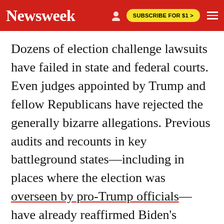Newsweek | SUBSCRIBE FOR $1 >
Dozens of election challenge lawsuits have failed in state and federal courts. Even judges appointed by Trump and fellow Republicans have rejected the generally bizarre allegations. Previous audits and recounts in key battleground states—including in places where the election was overseen by pro-Trump officials—have already reaffirmed Biden's victory.